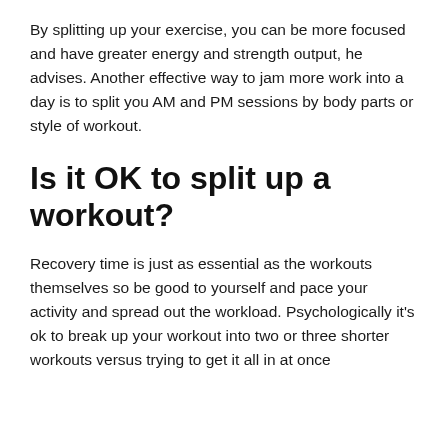By splitting up your exercise, you can be more focused and have greater energy and strength output, he advises. Another effective way to jam more work into a day is to split you AM and PM sessions by body parts or style of workout.
Is it OK to split up a workout?
Recovery time is just as essential as the workouts themselves so be good to yourself and pace your activity and spread out the workload. Psychologically it's ok to break up your workout into two or three shorter workouts versus trying to get it all in at once